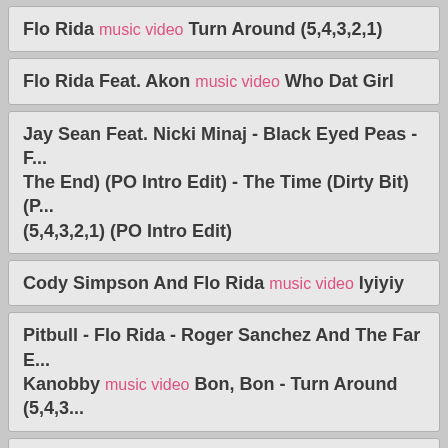Flo Rida music video Turn Around (5,4,3,2,1)
Flo Rida Feat. Akon music video Who Dat Girl
Jay Sean Feat. Nicki Minaj - Black Eyed Peas - F... The End) (PO Intro Edit) - The Time (Dirty Bit) (P... (5,4,3,2,1) (PO Intro Edit)
Cody Simpson And Flo Rida music video Iyiyiy
Pitbull - Flo Rida - Roger Sanchez And The Far E... Kanobby music video Bon, Bon - Turn Around (5,4,3...
Flo Rida Feat. Akon music video Who Dat Girl
Flo Rida Feat. Akon - Diddy - Dirty Money Feat...